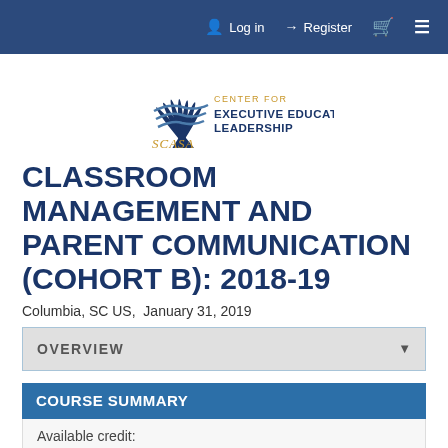Log in   Register
[Figure (logo): SCASA Center for Executive Education Leadership logo — blue fan/palm leaf emblem with gold text]
CLASSROOM MANAGEMENT AND PARENT COMMUNICATION (COHORT B): 2018-19
Columbia, SC US,  January 31, 2019
OVERVIEW
COURSE SUMMARY
Available credit: